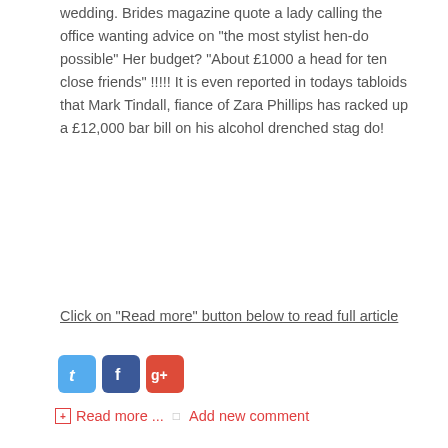wedding. Brides magazine quote a lady calling the office wanting advice on "the most stylist hen-do possible" Her budget? "About £1000 a head for ten close friends" !!!!! It is even reported in todays tabloids that Mark Tindall, fiance of Zara Phillips has racked up a £12,000 bar bill on his alcohol drenched stag do!
Click on "Read more" button below to read full article
[Figure (other): Social media share buttons: Twitter (light blue), Facebook (dark blue), Google+ (red)]
Read more ...   Add new comment
Albir beach - an alternative to Benidorm
[Figure (other): Five empty star rating circles]
[Figure (photo): Photo of Albir beach area with palm trees, buildings, and outdoor seating]
If you fancy a change from Benidorm's busy Levante or